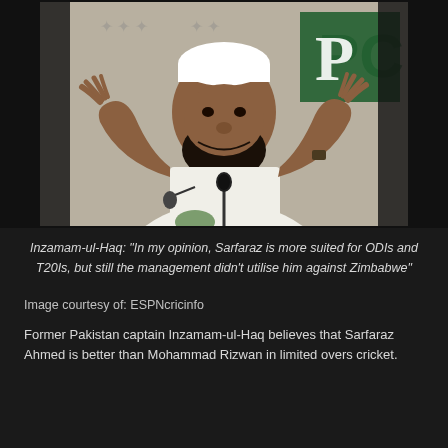[Figure (photo): Inzamam-ul-Haq speaking at a press conference, wearing white kurta and white taqiyah cap, gesturing with both hands raised, with microphones in front and a PCB logo visible in background]
Inzamam-ul-Haq: "In my opinion, Sarfaraz is more suited for ODIs and T20Is, but still the management didn't utilise him against Zimbabwe"
Image courtesy of: ESPNcricinfo
Former Pakistan captain Inzamam-ul-Haq believes that Sarfaraz Ahmed is better than Mohammad Rizwan in limited overs cricket.